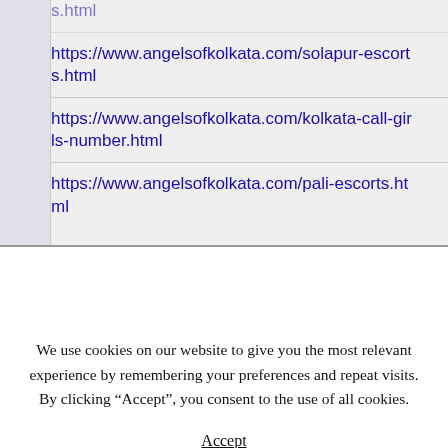s.html
https://www.angelsofkolkata.com/solapur-escorts.html
https://www.angelsofkolkata.com/kolkata-call-girls-number.html
https://www.angelsofkolkata.com/pali-escorts.html
We use cookies on our website to give you the most relevant experience by remembering your preferences and repeat visits. By clicking “Accept”, you consent to the use of all cookies.
Accept
s.html
https://www.angelsofkolkata.com/modasa-escorts.html
s.html
https://www.angelsofkolkata.com/aerocity-call-gi